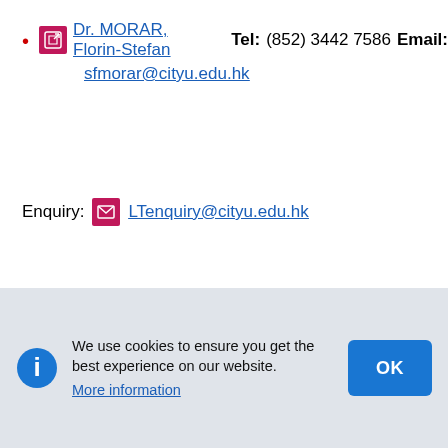Dr. MORAR, Florin-Stefan   Tel: (852) 3442 7586   Email: sfmorar@cityu.edu.hk
Enquiry: LTenquiry@cityu.edu.hk
We use cookies to ensure you get the best experience on our website. More information